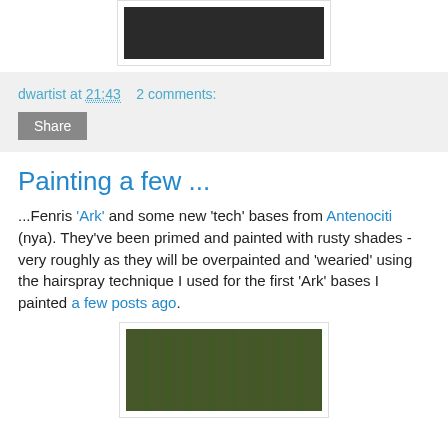[Figure (photo): Top portion of a photo showing metal paint/supply tins with light blue lids on a dark background]
dwartist at 21:43    2 comments:
Share
Painting a few ...
...Fenris 'Ark' and some new 'tech' bases from Antenociti (nya). They've been primed and painted with rusty shades - very roughly as they will be overpainted and 'wearied' using the hairspray technique I used for the first 'Ark' bases I painted a few posts ago.
[Figure (photo): Photo of multiple miniature bases arranged on a green cutting mat, painted in brown/rusty tones, various sizes]